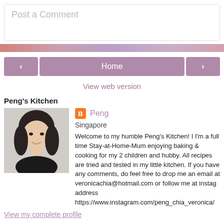Post a Comment
Home
View web version
Peng's Kitchen
[Figure (photo): Profile photo of Peng, a woman with dark hair]
Peng
Singapore
Welcome to my humble Peng's Kitchen! I I'm a full time Stay-at-Home-Mum enjoying baking & cooking for my 2 children and hubby. All recipes are tried and tested in my little kitchen. If you have any comments, do feel free to drop me an email at veronicachia@hotmail.com or follow me at instag address https://www.instagram.com/peng_chia_veronica/
View my complete profile
Powered by Blogger.